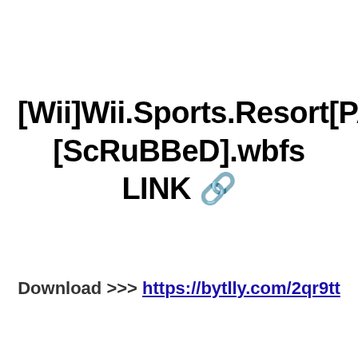[Wii]Wii.Sports.Resort[PAL][ScRuBBeD].wbfs LINK 🔗
Download >>> https://bytlly.com/2qr9tt